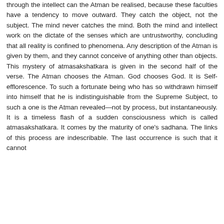through the intellect can the Atman be realised, because these faculties have a tendency to move outward. They catch the object, not the subject. The mind never catches the mind. Both the mind and intellect work on the dictate of the senses which are untrustworthy, concluding that all reality is confined to phenomena. Any description of the Atman is given by them, and they cannot conceive of anything other than objects. This mystery of atmasakshatkara is given in the second half of the verse. The Atman chooses the Atman. God chooses God. It is Self-efflorescence. To such a fortunate being who has so withdrawn himself into himself that he is indistinguishable from the Supreme Subject, to such a one is the Atman revealed—not by process, but instantaneously. It is a timeless flash of a sudden consciousness which is called atmasakshatkara. It comes by the maturity of one's sadhana. The links of this process are indescribable. The last occurrence is such that it cannot